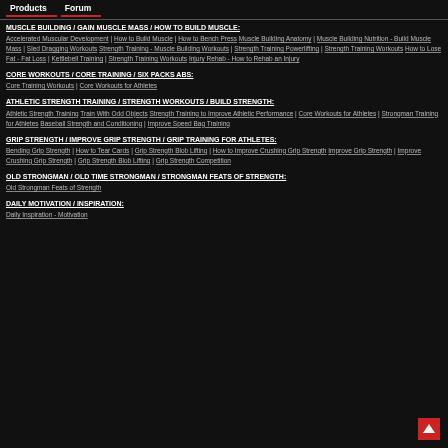Products | Forum
MUSCLE BUILDING / GAIN MUSCLE MASS / HOW TO BUILD MUSCLE:
Accelerated Muscular Development | How to Build Muscle | How to Bench Press Muscle Building Anatomy | Muscle Building Nutrition - Build Muscle Mass | Sled Dragging Workouts Strength Training - Muscle Building Workouts | Strength Training Powerlifting | Strength Training Workouts How to Lose Fat - Fat Loss | Kettlebell Training | Strength Training Workouts Injury Rehab - How to Rehab an Injury
CORE WORKOUTS / CORE TRAINING / SIX PACKS ABS:
Core Training Workouts | Core Workouts for Athletes
ATHLETIC STRENGTH TRAINING / STRENGTH WORKOUTS / BUILD STRENGTH:
Athletic Strength Training Train With Odd Objects Strength Training to Improve Athletic Performance | Core Workouts for Athletes | Strongman Training for Athletes Baseball Strength and Conditioning | Improve Speed Bag Training
GRIP STRENGTH / IMPROVE GRIP STRENGTH / GRIP TRAINING FOR ATHLETES:
Bending Grip Strength | How to Tear Cards | Grip Strength Blob Lifting | How to Improve Crushing Grip Strength Improve Grip Strength | Improve Crushing Grip Strength | Grip Strength Blob Lifting | Grip Strength Competition
OLD STRONGMAN / OLD TIME STRONGMAN / STRONGMAN FEATS OF STRENGTH:
Old Strongman Feats of Strength
DAILY MOTIVATION / INSPIRATION:
Daily Inspiration - Motivation